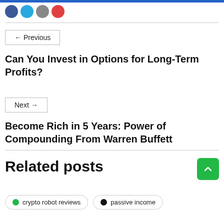[Figure (illustration): Social media share icons (dark blue, light blue, gray, red circles) at top left]
← Previous
Can You Invest in Options for Long-Term Profits?
Next →
Become Rich in 5 Years: Power of Compounding From Warren Buffett
Related posts
crypto robot reviews
passive income